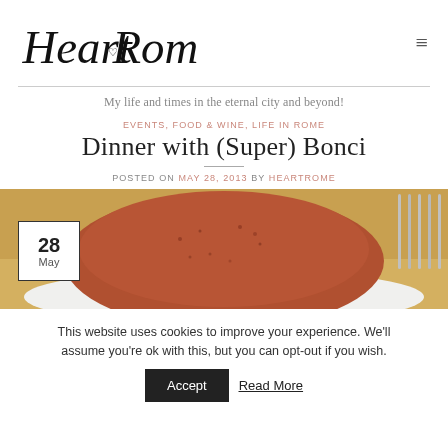HeartRome
My life and times in the eternal city and beyond!
EVENTS, FOOD & WINE, LIFE IN ROME
Dinner with (Super) Bonci
POSTED ON MAY 28, 2013 BY HEARTROME
[Figure (photo): Photo of a round bread/pizza ball on a white plate with fork visible on right, with a date badge showing 28 May overlaid on bottom-left]
This website uses cookies to improve your experience. We'll assume you're ok with this, but you can opt-out if you wish.
Accept   Read More